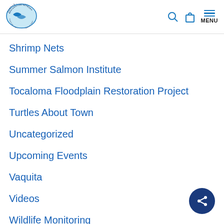[Figure (logo): Turtle Island Restoration Network logo — oval with fish/shark image and text around border]
Shrimp Nets
Summer Salmon Institute
Tocaloma Floodplain Restoration Project
Turtles About Town
Uncategorized
Upcoming Events
Vaquita
Videos
Wildlife Monitoring